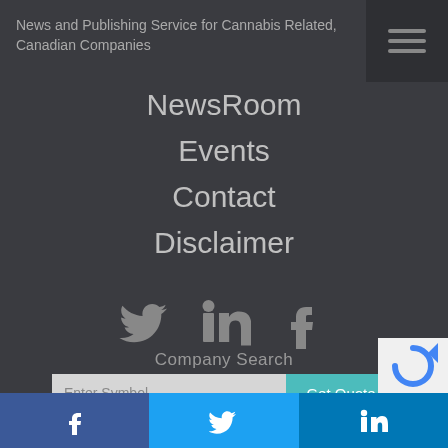News and Publishing Service for Cannabis Related, Canadian Companies
NewsRoom
Events
Contact
Disclaimer
[Figure (illustration): Social media icons: Twitter bird, LinkedIn 'in', Facebook 'f' in grey on dark background]
Company Search
Enter Symbol | Get Quote
Site Search
Search Term ... | Search
f (Facebook) | Twitter bird | in (LinkedIn) — social share footer bar